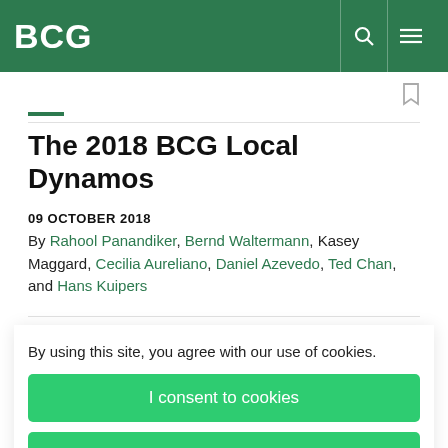BCG
The 2018 BCG Local Dynamos
09 OCTOBER 2018
By Rahool Panandiker, Bernd Waltermann, Kasey Maggard, Cecilia Aureliano, Daniel Azevedo, Ted Chan, and Hans Kuipers
By using this site, you agree with our use of cookies.
I consent to cookies
Want to know more?
Read our Cookie Policy